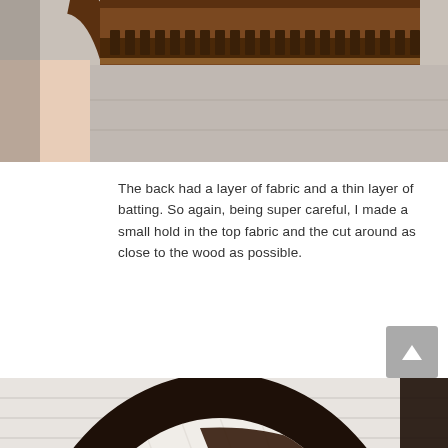[Figure (photo): Close-up of an ornate wooden chair back with carved decorative rail and armrest, photographed on concrete/pavement surface.]
The back had a layer of fabric and a thin layer of batting. So again, being super careful, I made a small hold in the top fabric and the cut around as close to the wood as possible.
[Figure (photo): Interior of an oval chair back frame showing layers of upholstery being removed — white batting/fabric layer, burlap (jute) layer, and dark brown original fabric layer with loose fiber strands visible.]